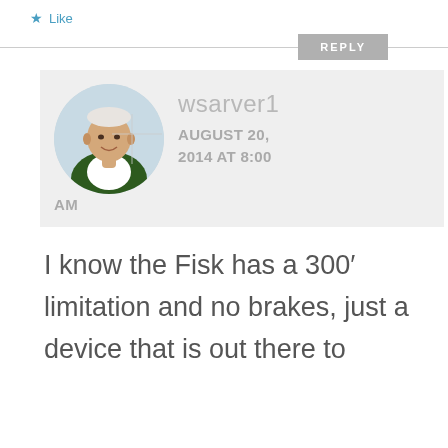★ Like
REPLY
[Figure (photo): Round avatar photo of a man in a green and dark blue top, cropped in a circle]
wsarver1
AUGUST 20, 2014 AT 8:00 AM
I know the Fisk has a 300′ limitation and no brakes, just a device that is out there to